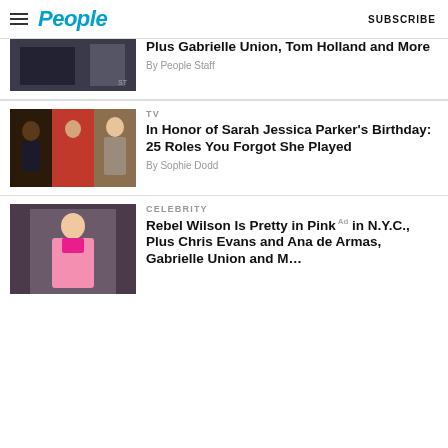People | SUBSCRIBE
Plus Gabrielle Union, Tom Holland and More
By People Staff
TV
In Honor of Sarah Jessica Parker's Birthday: 25 Roles You Forgot She Played
By Sophie Dodd
CELEBRITY
Rebel Wilson Is Pretty in Pink in N.Y.C., Plus Chris Evans and Ana de Armas, Gabrielle Union and M...